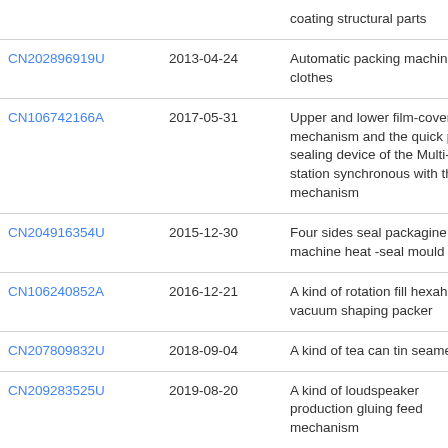| Patent Number | Date | Description |
| --- | --- | --- |
|  |  | coating structural parts |
| CN202896919U | 2013-04-24 | Automatic packing machine for clothes |
| CN106742166A | 2017-05-31 | Upper and lower film-covering mechanism and the quick press sealing device of the Multi-station synchronous with the mechanism |
| CN204916354U | 2015-12-30 | Four sides seal packagine machine heat -seal mould |
| CN106240852A | 2016-12-21 | A kind of rotation fill hexahedro vacuum shaping packer |
| CN207809832U | 2018-09-04 | A kind of tea can tin seamer |
| CN209283525U | 2019-08-20 | A kind of loudspeaker production gluing feed mechanism |
| CN207809850U | 2018-09-04 | A kind of tea can tin seamer |